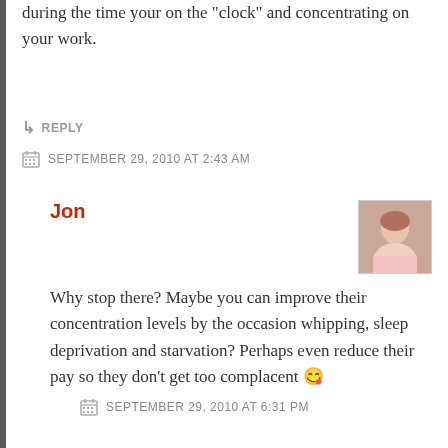during the time your on the "clock" and concentrating on your work.
↳ REPLY
SEPTEMBER 29, 2010 AT 2:43 AM
Jon
[Figure (photo): Avatar photo of a man with short hair wearing a light pink shirt]
Why stop there? Maybe you can improve their concentration levels by the occasion whipping, sleep deprivation and starvation? Perhaps even reduce their pay so they don't get too complacent 😉
SEPTEMBER 29, 2010 AT 6:31 PM